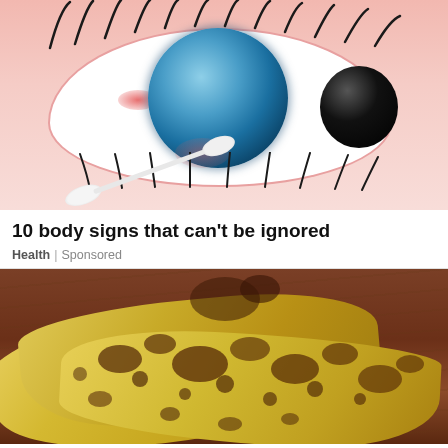[Figure (illustration): Medical illustration of a human eye with blue iris and black pupil, with eyelashes, and a white q-tip/cotton swab touching the inner corner of the eye, showing pink irritation. Skin-toned background.]
10 body signs that can't be ignored
Health | Sponsored
[Figure (photo): Photo of overripe spotted bananas with dark brown spots on yellow skin, placed on a dark wooden surface.]